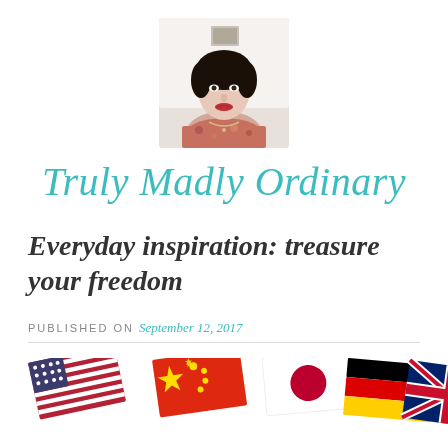[Figure (photo): Profile photo of a dark-haired woman in a floral top, cropped square, placed at the top center of the page]
Truly Madly Ordinary
Everyday inspiration: treasure your freedom
PUBLISHED ON September 12, 2017
[Figure (photo): Row of world flags including USA, China, Japan, Germany, UK flags, partially cropped at the bottom of the page]